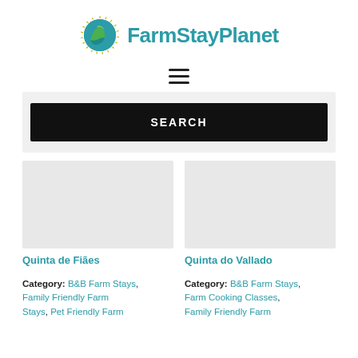[Figure (logo): FarmStayPlanet logo: circular green and teal globe icon with leaf/wave design and sunburst border, followed by bold teal text 'FarmStayPlanet']
[Figure (other): Hamburger menu icon: three horizontal black lines]
[Figure (other): Search bar area with black SEARCH button on light gray background]
Quinta de Fiães
Category: B&B Farm Stays, Family Friendly Farm Stays, Pet Friendly Farm
Quinta do Vallado
Category: B&B Farm Stays, Farm Cooking Classes, Family Friendly Farm